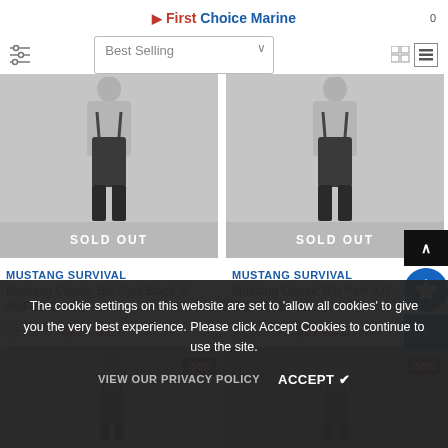First Choice Marine
[Figure (screenshot): Filter icon and Best Selling sort dropdown with grid/list view toggle]
[Figure (photo): Mannequin wearing dark bib pants - left product (Mustang Classic Bib Pant Black S)]
SOLD OUT
MUSTANG SURVIVAL
Mustang Classic Bib Pant Black S #MP4212-S-13
$626.38  $274.31
Notify me when back in stock
[Figure (photo): Mannequin wearing dark bib pants - right product (Mustang Classic Bib Pant 2XL)]
SOLD OUT
MUSTANG SURVIVAL
Mustang Classic Bib Pant 2XL #MP4212-XXL-13
$1,089.90  $274.31
Notify me when back in stock
The cookie settings on this website are set to 'allow all cookies' to give you the very best experience. Please click Accept Cookies to continue to use the site.
VIEW OUR PRIVACY POLICY   ACCEPT ✔